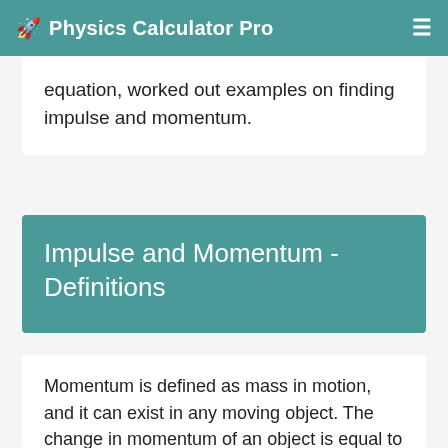Physics Calculator Pro
equation, worked out examples on finding impulse and momentum.
Impulse and Momentum - Definitions
Momentum is defined as mass in motion, and it can exist in any moving object. The change in momentum of an object is equal to its impulse. The force multiplied by the time gap equals the impulse. Impulse is not the same as momentum; rather, it is the rise or reduction in momentum of an object.